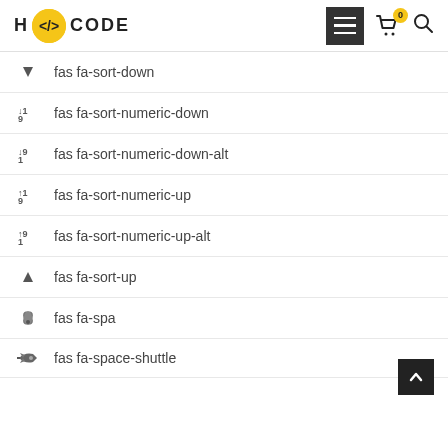H CODE
fas fa-sort-down
fas fa-sort-numeric-down
fas fa-sort-numeric-down-alt
fas fa-sort-numeric-up
fas fa-sort-numeric-up-alt
fas fa-sort-up
fas fa-spa
fas fa-space-shuttle